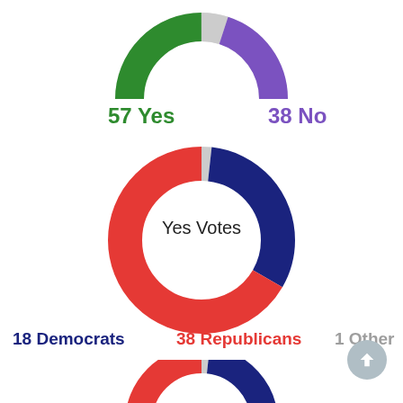[Figure (donut-chart): Top partial donut (Yes/No)]
57 Yes
38 No
[Figure (donut-chart): Yes Votes]
18 Democrats
38 Republicans
1 Other
[Figure (donut-chart): Partial donut chart visible at bottom of page]